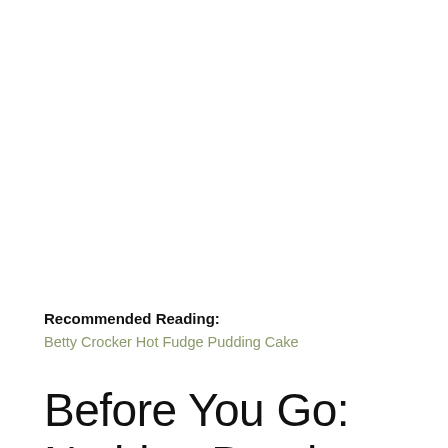Recommended Reading:
Betty Crocker Hot Fudge Pudding Cake
Before You Go: Nothing Bundt Cake